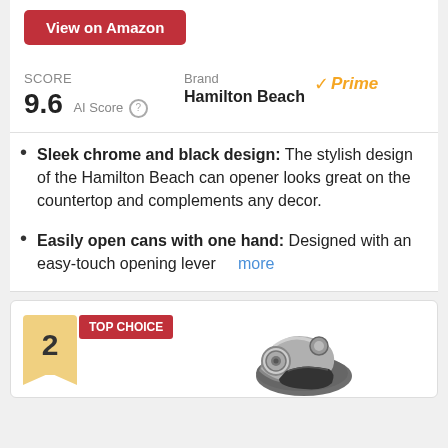View on Amazon
SCORE
9.6 AI Score
Brand
Hamilton Beach
Prime
Sleek chrome and black design: The stylish design of the Hamilton Beach can opener looks great on the countertop and complements any decor.
Easily open cans with one hand: Designed with an easy-touch opening lever more
2
TOP CHOICE
[Figure (photo): A chrome and black can opener product photo, partially visible at the bottom of the page.]